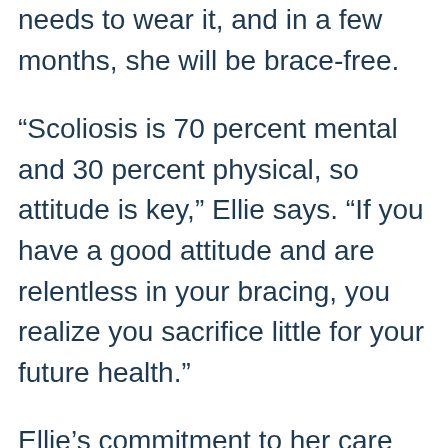needs to wear it, and in a few months, she will be brace-free.
“Scoliosis is 70 percent mental and 30 percent physical, so attitude is key,” Ellie says. “If you have a good attitude and are relentless in your bracing, you realize you sacrifice little for your future health.”
Ellie’s commitment to her care team’s plan was evident.
“Part of the reason Ellie’s bracing was so successful was due to her commitment to wearing her brace religiously, up to twenty